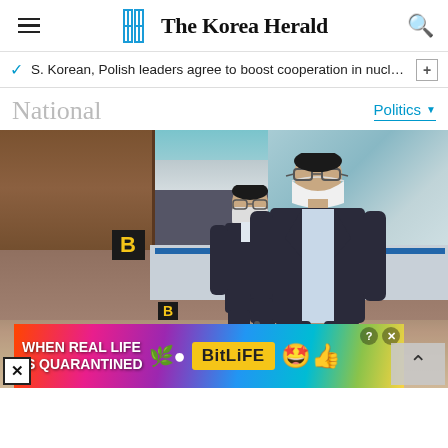The Korea Herald
S. Korean, Polish leaders agree to boost cooperation in nuclear p…
National
Politics
[Figure (photo): Two men wearing white KF94 face masks walking through an airport terminal (presumably Incheon International Airport). The man in front wears glasses and a light blue shirt under a dark suit jacket and pulls a suitcase. Another man walks behind him also in a dark suit. A yellow 'B' gate sign is visible in the background.]
WHEN REAL LIFE IS QUARANTINED — BitLife (advertisement)